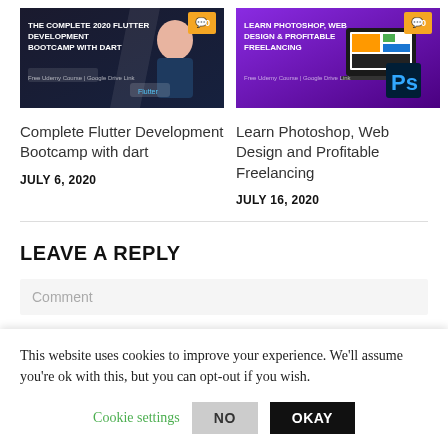[Figure (screenshot): Udemy course thumbnail for Complete Flutter Development Bootcamp with dart]
Complete Flutter Development Bootcamp with dart
JULY 6, 2020
[Figure (screenshot): Udemy course thumbnail for Learn Photoshop, Web Design and Profitable Freelancing]
Learn Photoshop, Web Design and Profitable Freelancing
JULY 16, 2020
LEAVE A REPLY
This website uses cookies to improve your experience. We'll assume you're ok with this, but you can opt-out if you wish.